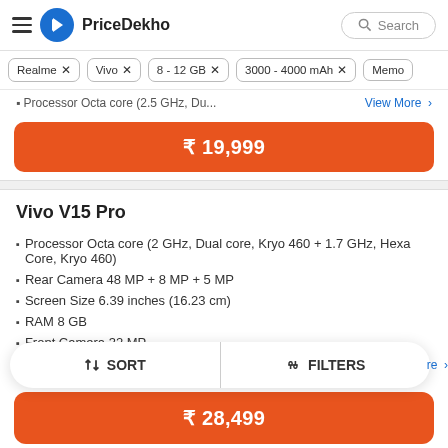PriceDekho
Realme ×
Vivo ×
8 - 12 GB ×
3000 - 4000 mAh ×
Memo...
• Processor Octa core (2.5 GHz, Du...   View More >
₹ 19,999
Vivo V15 Pro
Processor Octa core (2 GHz, Dual core, Kryo 460 + 1.7 GHz, Hexa Core, Kryo 460)
Rear Camera 48 MP + 8 MP + 5 MP
Screen Size 6.39 inches (16.23 cm)
RAM 8 GB
Front Camera 32 MP
↕ SORT   |   ⊹ FILTERS
₹ 28,499